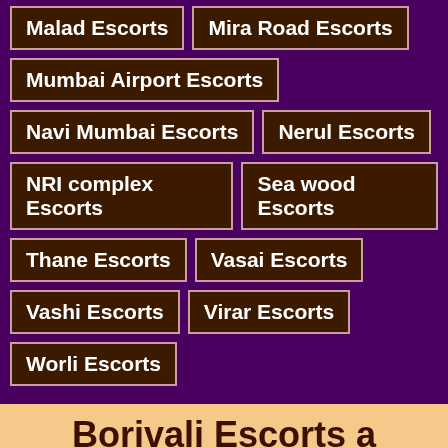Malad Escorts
Mira Road Escorts
Mumbai Airport Escorts
Navi Mumbai Escorts
Nerul Escorts
NRI complex Escorts
Sea wood Escorts
Thane Escorts
Vasai Escorts
Vashi Escorts
Virar Escorts
Worli Escorts
Borivali Escorts a Ready Girl Will Be From Us
Borivali Escorts has many different kinds of escorts to choose from. There are escorts, escorts, and call girls. You can choose a